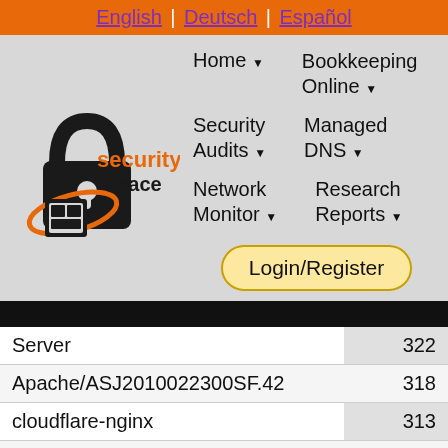English | Deutsch | Español
[Figure (logo): Security Space logo: padlock graphic with orange 'security' text and 'space' text, decorative ring element]
Home ▼
Bookkeeping Online ▼
Security Audits ▼
Managed DNS ▼
Network Monitor ▼
Research Reports ▼
Login/Register
| Server | 322 |
| --- | --- |
| Apache/ASJ2010022300SF.42 | 318 |
| cloudflare-nginx | 313 |
| TAXBACK.COM | 312 |
| Microsoft-IIS/5.1 | 303 |